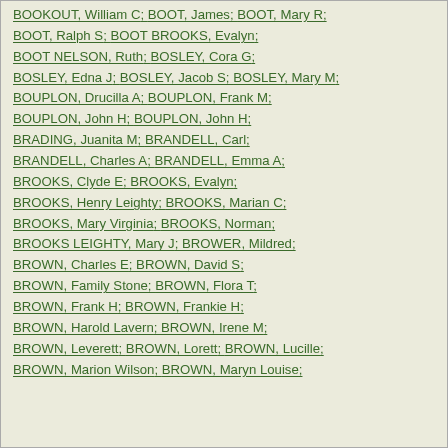BOOKOUT, William C; BOOT, James; BOOT, Mary R; BOOT, Ralph S; BOOT BROOKS, Evalyn; BOOT NELSON, Ruth; BOSLEY, Cora G; BOSLEY, Edna J; BOSLEY, Jacob S; BOSLEY, Mary M; BOUPLON, Drucilla A; BOUPLON, Frank M; BOUPLON, John H; BOUPLON, John H; BRADING, Juanita M; BRANDELL, Carl; BRANDELL, Charles A; BRANDELL, Emma A; BROOKS, Clyde E; BROOKS, Evalyn; BROOKS, Henry Leighty; BROOKS, Marian C; BROOKS, Mary Virginia; BROOKS, Norman; BROOKS LEIGHTY, Mary J; BROWER, Mildred; BROWN, Charles E; BROWN, David S; BROWN, Family Stone; BROWN, Flora T; BROWN, Frank H; BROWN, Frankie H; BROWN, Harold Lavern; BROWN, Irene M; BROWN, Leverett; BROWN, Lorett; BROWN, Lucille; BROWN, Marion Wilson; BROWN, Maryn Louise;